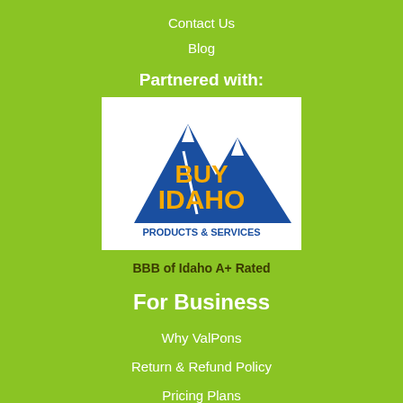Contact Us
Blog
Partnered with:
[Figure (logo): Buy Idaho Products & Services logo — two blue mountain peaks with 'BUY IDAHO' in orange bold text and 'PRODUCTS & SERVICES' in blue text below on white background]
BBB of Idaho A+ Rated
For Business
Why ValPons
Return & Refund Policy
Pricing Plans
90 Day Trial Offer